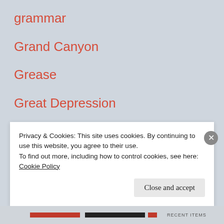grammar
Grand Canyon
Grease
Great Depression
Greek
grief
gun violence
Guy Fieri
Privacy & Cookies: This site uses cookies. By continuing to use this website, you agree to their use.
To find out more, including how to control cookies, see here: Cookie Policy
Close and accept